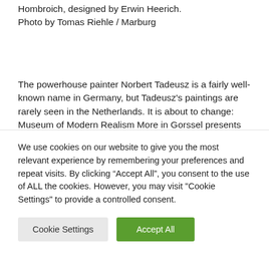Hombroich, designed by Erwin Heerich. Photo by Tomas Riehle / Marburg
The powerhouse painter Norbert Tadeusz is a fairly well-known name in Germany, but Tadeusz’s paintings are rarely seen in the Netherlands. It is about to change: Museum of Modern Realism More in Gorssel presents from 22 May under the title Life as a spectacle a large overview of the painter
We use cookies on our website to give you the most relevant experience by remembering your preferences and repeat visits. By clicking “Accept All”, you consent to the use of ALL the cookies. However, you may visit "Cookie Settings" to provide a controlled consent.